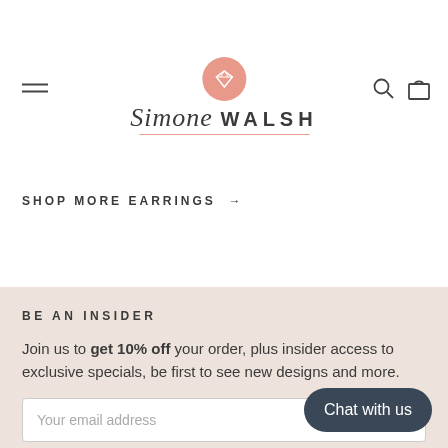Simone Walsh - jewelry website header with logo, hamburger menu, search and cart icons
SHOP MORE EARRINGS →
BE AN INSIDER
Join us to get 10% off your order, plus insider access to exclusive specials, be first to see new designs and more.
Your email address
JOIN NOW
Chat with us